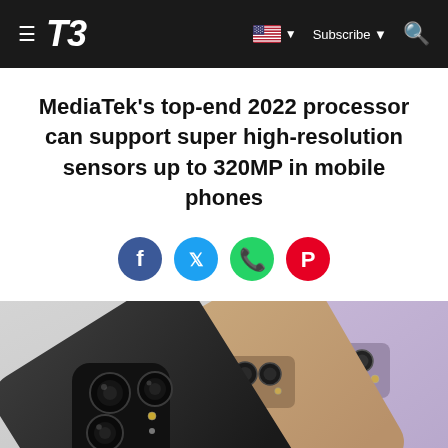T3 — Subscribe
MediaTek's top-end 2022 processor can support super high-resolution sensors up to 320MP in mobile phones
[Figure (illustration): Social sharing buttons: Facebook (blue), Twitter (light blue), WhatsApp (green), Pinterest (red)]
[Figure (photo): Three Samsung smartphones arranged diagonally showing their rear camera modules — black, gold/rose, and purple/lavender colors]